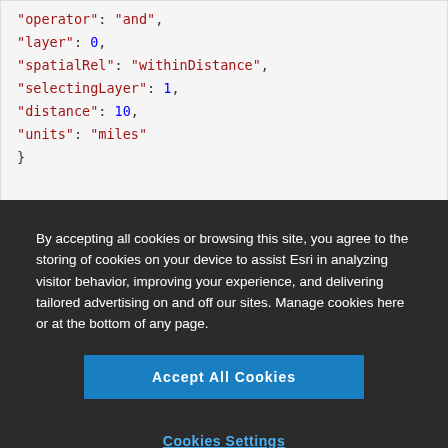[Figure (screenshot): Code block showing JSON-like object with keys: operator 'and', layer 0, spatialRel 'withinDistance', selectingLayer 1, distance 10, units 'miles', closing brace]
operator can be either and or or
By accepting all cookies or browsing this site, you agree to the storing of cookies on your device to assist Esri in analyzing visitor behavior, improving your experience, and delivering tailored advertising on and off our sites. Manage cookies here or at the bottom of any page.
Accept All Cookies
Cookies Settings